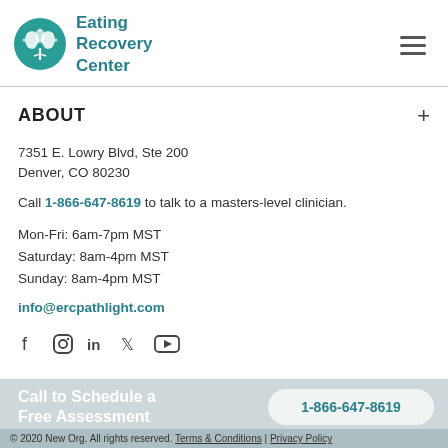[Figure (logo): Eating Recovery Center logo: teal circular tree/brain icon with text 'Eating Recovery Center']
ABOUT
7351 E. Lowry Blvd, Ste 200
Denver, CO 80230
Call 1-866-647-8619 to talk to a masters-level clinician.
Mon-Fri: 6am-7pm MST
Saturday: 8am-4pm MST
Sunday: 8am-4pm MST
info@ercpathlight.com
[Figure (infographic): Social media icons: Facebook, Instagram, LinkedIn, Twitter, YouTube]
Call to Schedule a Free Assessment
1-866-647-8619
© 2020 New Org. All rights reserved. Terms & Conditions | Privacy Policy